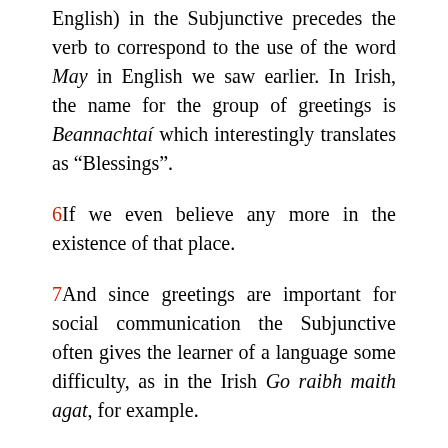English) in the Subjunctive precedes the verb to correspond to the use of the word May in English we saw earlier. In Irish, the name for the group of greetings is Beannachtaí which interestingly translates as “Blessings”.
6If we even believe any more in the existence of that place.
7And since greetings are important for social communication the Subjunctive often gives the learner of a language some difficulty, as in the Irish Go raibh maith agat, for example.
8A line in a centuries-old macaronic Irish song (i.e a